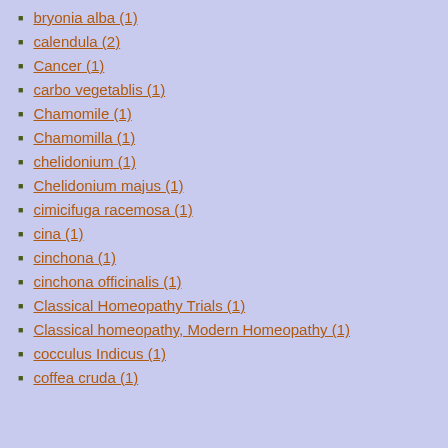bryonia alba (1)
calendula (2)
Cancer (1)
carbo vegetablis (1)
Chamomile (1)
Chamomilla (1)
chelidonium (1)
Chelidonium majus (1)
cimicifuga racemosa (1)
cina (1)
cinchona (1)
cinchona officinalis (1)
Classical Homeopathy Trials (1)
Classical homeopathy, Modern Homeopathy (1)
cocculus Indicus (1)
coffea cruda (1)